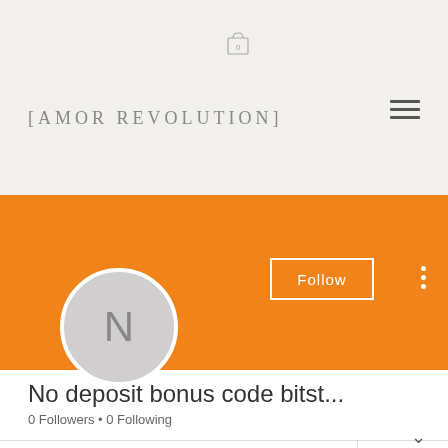[Figure (screenshot): Shopping cart icon with '0' label, displayed in light beige header area]
[Figure (logo): Amor Revolution brand logo text in serif font with brackets and hamburger menu icon on right]
[Figure (illustration): Orange banner profile section with Follow button, three-dot menu, and circular avatar with letter N]
No deposit bonus code bitst...
0 Followers • 0 Following